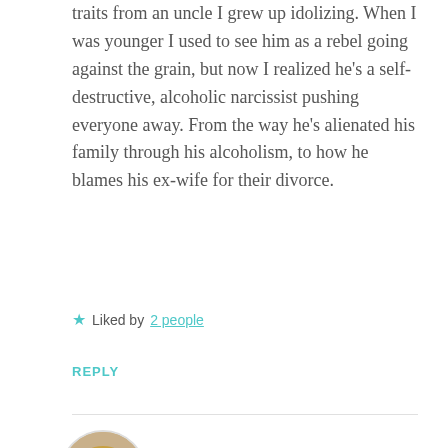traits from an uncle I grew up idolizing. When I was younger I used to see him as a rebel going against the grain, but now I realized he's a self-destructive, alcoholic narcissist pushing everyone away. From the way he's alienated his family through his alcoholism, to how he blames his ex-wife for their divorce.
★ Liked by 2 people
REPLY
[Figure (photo): Circular avatar photo of a blonde woman wearing a green top]
triciabarkernde
DECEMBER 15, 2016 AT 8:13 PM